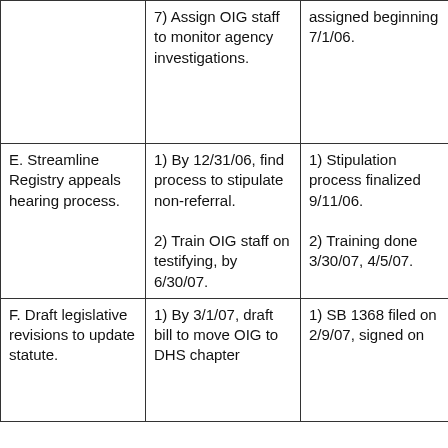|  | 7) Assign OIG staff to monitor agency investigations. | assigned beginning 7/1/06. |
| E. Streamline Registry appeals hearing process. | 1) By 12/31/06, find process to stipulate non-referral.

2) Train OIG staff on testifying, by 6/30/07. | 1) Stipulation process finalized 9/11/06.

2) Training done 3/30/07, 4/5/07. |
| F. Draft legislative revisions to update statute. | 1) By 3/1/07, draft bill to move OIG to DHS chapter | 1) SB 1368 filed on 2/9/07, signed on |